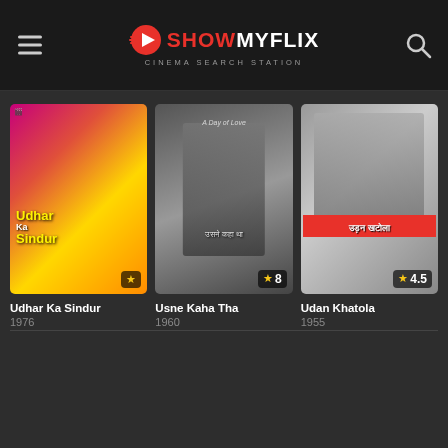ShowMyFlix — Cinema Search Station
[Figure (screenshot): Movie poster for Udhar Ka Sindur (1976) — colorful Bollywood poster with Hindi text, star rating badge]
Udhar Ka Sindur
1976
[Figure (screenshot): Movie poster for Usne Kaha Tha (1960) — dark monochrome poster with Hindi text, rating 8]
Usne Kaha Tha
1960
[Figure (screenshot): Movie poster for Udan Khatola (1955) — grey poster with Hindi text, rating 4.5]
Udan Khatola
1955